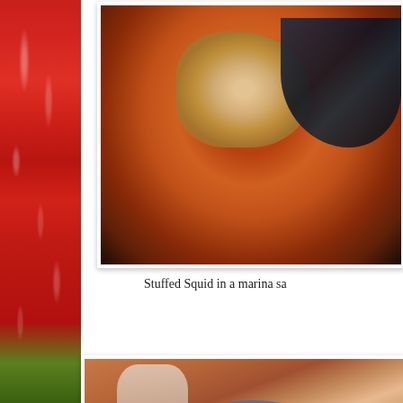[Figure (photo): Red bell pepper close-up on the left side of the page, showing vivid red skin with water droplets and green stem at bottom]
[Figure (photo): Overhead view of stuffed squid in a marina/marinara sauce served in a dark round pan, with a blue utensil visible]
Stuffed Squid in a marina sa
[Figure (photo): Partial view of a food dish on a red placemat with cutlery and a blue decorative element, partially cut off]